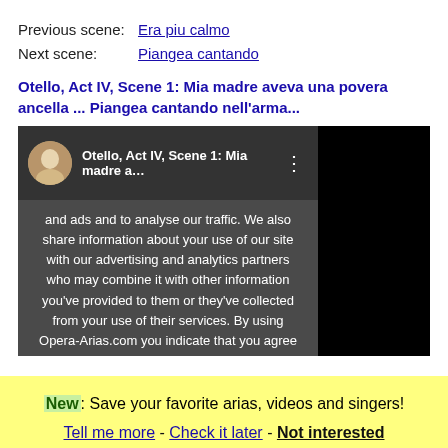Previous scene:  Era piu calmo
Next scene:  Piangea cantando
Otello, Act IV, Scene 1: Mia madre aveva una povera ancella ... Piangea cantando nell'arma...
[Figure (screenshot): YouTube video thumbnail showing 'Otello, Act IV, Scene 1: Mia madre a...' with a cookie consent overlay covering the left portion of the video.]
and ads and to analyse our traffic. We also share information about your use of our site with our advertising and analytics partners who may combine it with other information you've provided to them or they've collected from your use of their services. By using Opera-Arias.com you indicate that you agree to Opera-arias.com's Terms of Use and acknowledge Opera-arias.com's Privacy Policy. Learn more
New: Save your favorite arias, videos and singers! Tell me more - Check it later - Not interested